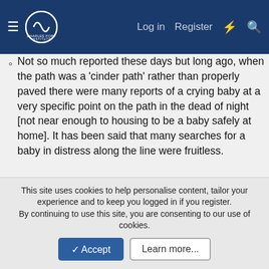Charles Fort Institute — Log in | Register
Not so much reported these days but long ago, when the path was a 'cinder path' rather than properly paved there were many reports of a crying baby at a very specific point on the path in the dead of night [not near enough to housing to be a baby safely at home]. It has been said that many searches for a baby in distress along the line were fruitless.
That's all I have for now. The family tales are very much based on truth [including my cycle journey]. The others are based on long standing stories from around town. Maybe there is some truth in them. Maybe they are based on urban legends. Either way I have not simply made them up. Those stories, and others,
This site uses cookies to help personalise content, tailor your experience and to keep you logged in if you register.
By continuing to use this site, you are consenting to our use of cookies.